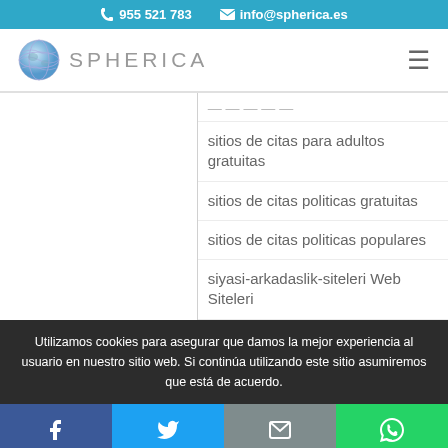955 521 783  info@spherica.es
[Figure (logo): Spherica logo with globe icon and text SPHERICA]
sitios de citas para adultos gratuitas
sitios de citas politicas gratuitas
sitios de citas politicas populares
siyasi-arkadaslik-siteleri Web Siteleri
Utilizamos cookies para asegurar que damos la mejor experiencia al usuario en nuestro sitio web. Si continúa utilizando este sitio asumiremos que está de acuerdo.
Facebook  Twitter  Email  WhatsApp